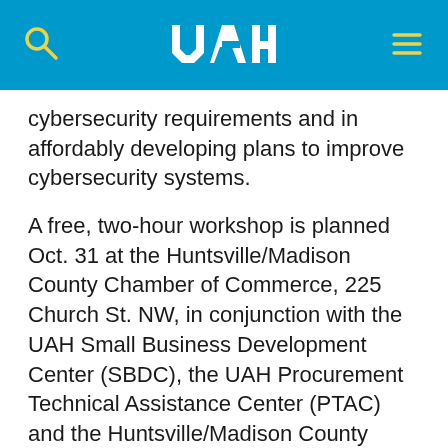UAH header navigation bar
cybersecurity requirements and in affordably developing plans to improve cybersecurity systems.
A free, two-hour workshop is planned Oct. 31 at the Huntsville/Madison County Chamber of Commerce, 225 Church St. NW, in conjunction with the UAH Small Business Development Center (SBDC), the UAH Procurement Technical Assistance Center (PTAC) and the Huntsville/Madison County Chamber of Commerce.
Future workshops will be held across Alabama. "We are collaborating with the SBDCs and PTACs across the state, along with several Chambers of Commerce and economic